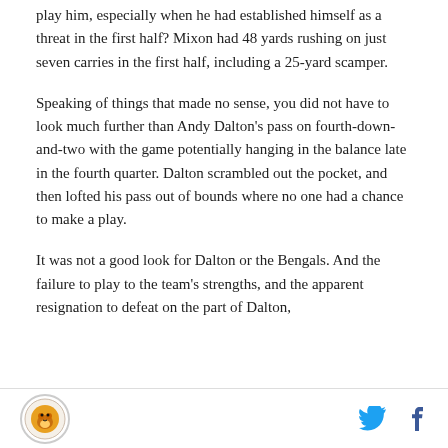play him, especially when he had established himself as a threat in the first half? Mixon had 48 yards rushing on just seven carries in the first half, including a 25-yard scamper.
Speaking of things that made no sense, you did not have to look much further than Andy Dalton's pass on fourth-down-and-two with the game potentially hanging in the balance late in the fourth quarter. Dalton scrambled out the pocket, and then lofted his pass out of bounds where no one had a chance to make a play.
It was not a good look for Dalton or the Bengals. And the failure to play to the team's strengths, and the apparent resignation to defeat on the part of Dalton,
Logo and social icons (Twitter, Facebook)